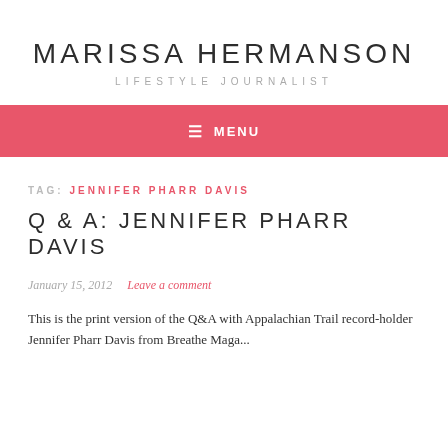MARISSA HERMANSON
LIFESTYLE JOURNALIST
≡ MENU
TAG: JENNIFER PHARR DAVIS
Q & A: JENNIFER PHARR DAVIS
January 15, 2012   Leave a comment
This is the print version of the Q&A with Appalachian Trail record-holder Jennifer Pharr Davis from Breathe Magazine...